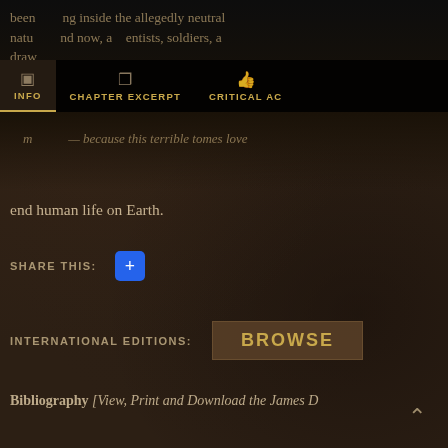been shooting inside the allegedly neutral natural and now, scientists, soldiers, draw — because this terrible tomes love and destroy
INFO   CHAPTER EXCERPT   CRITICAL AC
end human life on Earth.
SHARE THIS:
INTERNATIONAL EDITIONS:   BROWSE
Bibliography [View, Print and Download the James D